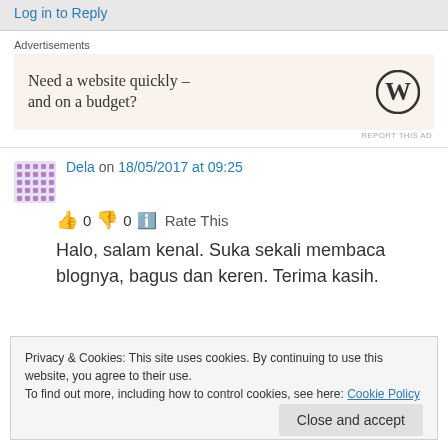Log in to Reply
Advertisements
[Figure (screenshot): Advertisement box with text 'Need a website quickly – and on a budget?' and WordPress logo]
Dela on 18/05/2017 at 09:25
👍 0 👎 0 ℹ️ Rate This
Halo, salam kenal. Suka sekali membaca blognya, bagus dan keren. Terima kasih.
Privacy & Cookies: This site uses cookies. By continuing to use this website, you agree to their use.
To find out more, including how to control cookies, see here: Cookie Policy
Close and accept